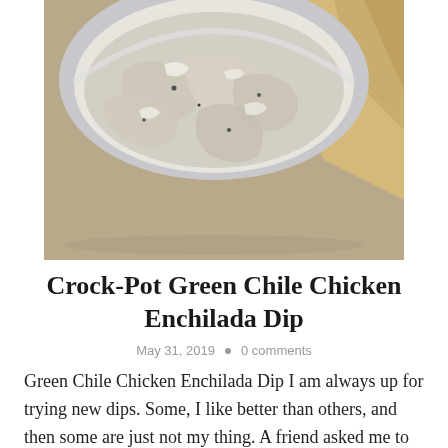[Figure (photo): Close-up photo of a white bowl filled with creamy green chile chicken enchilada dip, surrounded by tortilla chips on the right side]
Crock-Pot Green Chile Chicken Enchilada Dip
May 31, 2019 • 0 comments
Green Chile Chicken Enchilada Dip I am always up for trying new dips. Some, I like better than others, and then some are just not my thing. A friend asked me to try this dip [...]